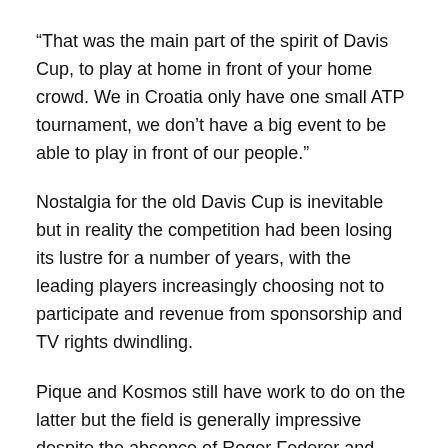“That was the main part of the spirit of Davis Cup, to play at home in front of your home crowd. We in Croatia only have one small ATP tournament, we don’t have a big event to be able to play in front of our people.”
Nostalgia for the old Davis Cup is inevitable but in reality the competition had been losing its lustre for a number of years, with the leading players increasingly choosing not to participate and revenue from sponsorship and TV rights dwindling.
Pique and Kosmos still have work to do on the latter but the field is generally impressive despite the absence of Roger Federer and Alexander Zverev and the withdrawals of Daniil Medvedev, Marin Cilic and Kei Nishikori.
The impression so far is that this format is good for the